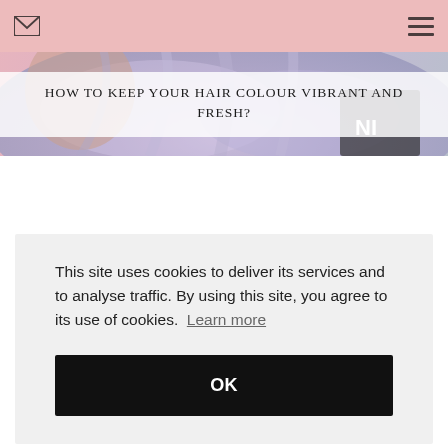[Figure (photo): Blog page screenshot showing a hero image of purple/lavender dyed hair with a pink-toned background at the top. Navigation bar with envelope icon on left and hamburger menu on right. Overlay title bar reading 'HOW TO KEEP YOUR HAIR COLOUR VIBRANT AND FRESH?']
HOW TO KEEP YOUR HAIR COLOUR VIBRANT AND FRESH?
This site uses cookies to deliver its services and to analyse traffic. By using this site, you agree to its use of cookies.  Learn more
OK